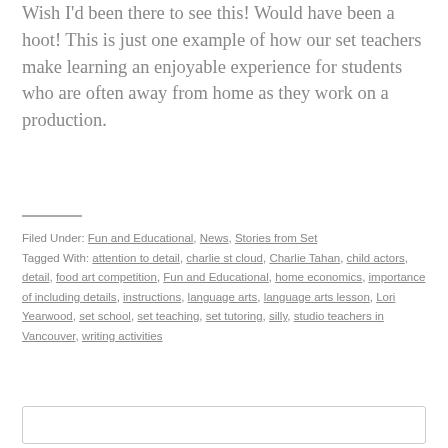Wish I'd been there to see this! Would have been a hoot! This is just one example of how our set teachers make learning an enjoyable experience for students who are often away from home as they work on a production.
Filed Under: Fun and Educational, News, Stories from Set
Tagged With: attention to detail, charlie st cloud, Charlie Tahan, child actors, detail, food art competition, Fun and Educational, home economics, importance of including details, instructions, language arts, language arts lesson, Lori Yearwood, set school, set teaching, set tutoring, silly, studio teachers in Vancouver, writing activities